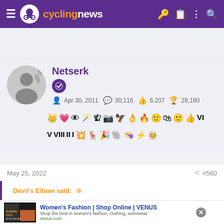cyclingnews
[Figure (screenshot): User profile card for 'Netserk' on cyclingnews forum showing avatar, join date Apr 30 2011, 30,116 messages, 6,207 likes, 28,180 points, and rows of achievement badges]
May 25, 2022   #560
Devil's Elbow said:
[Figure (screenshot): Advertisement banner: Women's Fashion | Shop Online | VENUS - Shop the best in women's fashion, clothing, swimwear - venus.com]